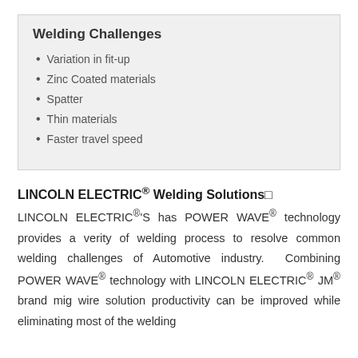Welding Challenges
Variation in fit-up
Zinc Coated materials
Spatter
Thin materials
Faster travel speed
LINCOLN ELECTRIC® Welding Solutions□
LINCOLN ELECTRIC®'S has POWER WAVE® technology provides a verity of welding process to resolve common welding challenges of Automotive industry. Combining POWER WAVE® technology with LINCOLN ELECTRIC® JM® brand mig wire solution productivity can be improved while eliminating most of the welding